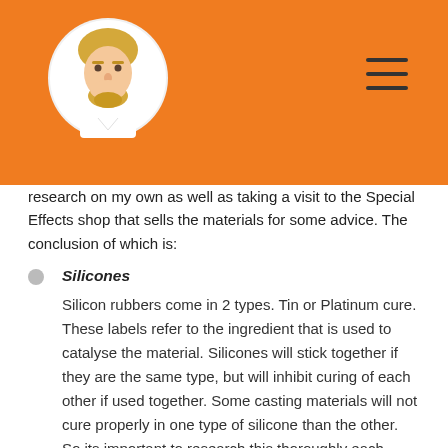[Figure (illustration): Orange header bar with a circular avatar illustration of a blond bearded man, and a hamburger menu icon on the right]
research on my own as well as taking a visit to the Special Effects shop that sells the materials for some advice. The conclusion of which is:
Silicones
Silicon rubbers come in 2 types. Tin or Platinum cure. These labels refer to the ingredient that is used to catalyse the material. Silicones will stick together if they are the same type, but will inhibit curing of each other if used together. Some casting materials will not cure properly in one type of silicone than the other. So its important to research this thoroughly each project.